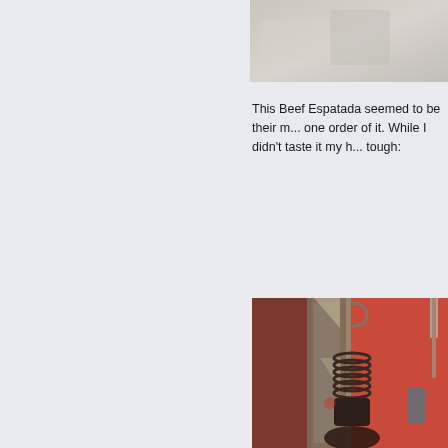[Figure (photo): Partial top photo, cropped, showing light-colored surface or food item]
This Beef Espatada seemed to be their m... one order of it. While I didn't taste it my h... tough:
[Figure (photo): Photo of Beef Espatada dish on a skewer with a spring/coil mechanism, hanging against a red/pink restaurant wall with decorative metal artwork in the background]